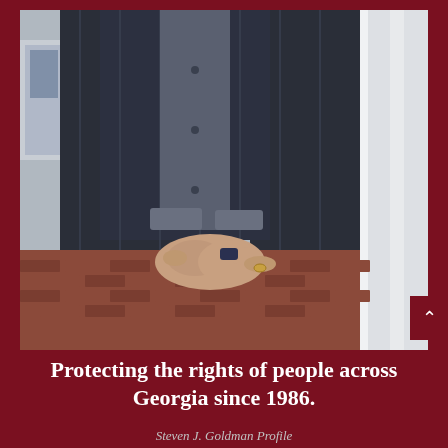[Figure (photo): A man in a dark plaid suit jacket with his hands clasped together in front of him, standing outside near a brick walkway and white columns or building facade. Only his torso and hands are visible — no face shown.]
Protecting the rights of people across Georgia since 1986.
Steven J. Goldman Profile